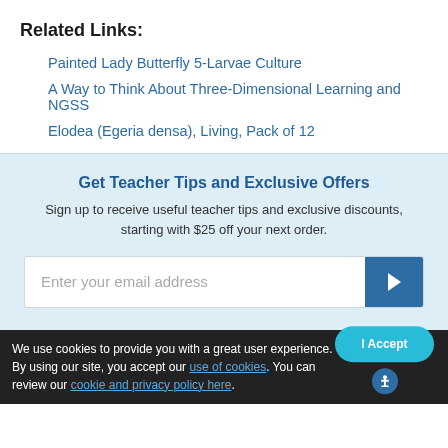Related Links:
Painted Lady Butterfly 5-Larvae Culture
A Way to Think About Three-Dimensional Learning and NGSS
Elodea (Egeria densa), Living, Pack of 12
Get Teacher Tips and Exclusive Offers
Sign up to receive useful teacher tips and exclusive discounts, starting with $25 off your next order.
Enter your email address
We use cookies to provide you with a great user experience. By using our site, you accept our use of cookies. You can review our cookie and privacy policy here.